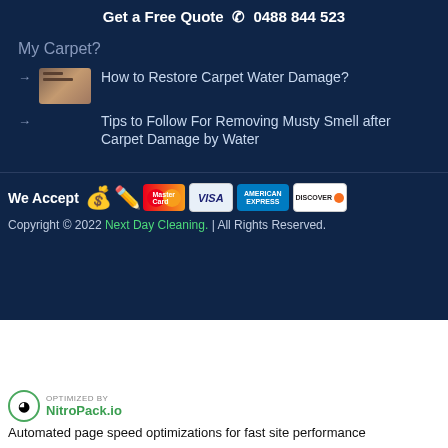Get a Free Quote ☎ 0488 844 523
My Carpet?
How to Restore Carpet Water Damage?
Tips to Follow For Removing Musty Smell after Carpet Damage by Water
We Accept
Copyright © 2022 Next Day Cleaning. | All Rights Reserved.
[Figure (logo): NitroPack.io logo with speedometer icon and text: OPTIMIZED BY NitroPack.io]
Automated page speed optimizations for fast site performance